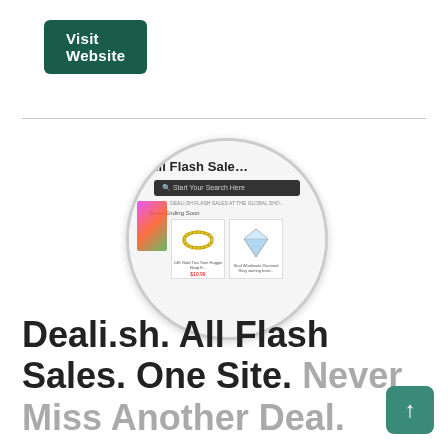[Figure (screenshot): Green 'Visit Website' button in the top left corner]
[Figure (screenshot): Circular screenshot of the Deali.sh website showing 'All Flash Sales' heading, a search bar, product thumbnails including rings and a diamond, with a colorful image on the left side]
Deali.sh. All Flash Sales. One Site. Never Miss Another Deal.